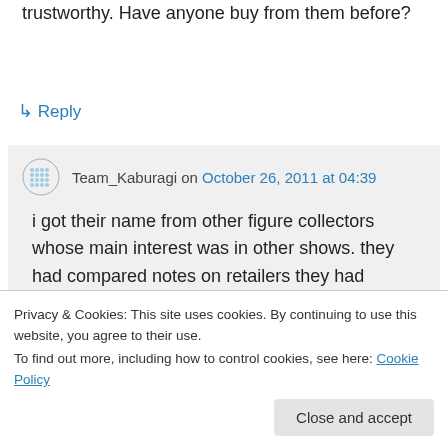trustworthy. Have anyone buy from them before?
↳ Reply
Team_Kaburagi on October 26, 2011 at 04:39
i got their name from other figure collectors whose main interest was in other shows. they had compared notes on retailers they had bought from and warned the rest of
Privacy & Cookies: This site uses cookies. By continuing to use this website, you agree to their use.
To find out more, including how to control cookies, see here: Cookie Policy
Close and accept
if it makes you feel better, Better Business